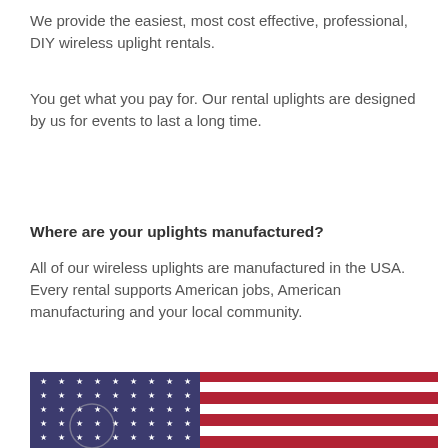We provide the easiest, most cost effective, professional, DIY wireless uplight rentals.
You get what you pay for. Our rental uplights are designed by us for events to last a long time.
Where are your uplights manufactured?
All of our wireless uplights are manufactured in the USA. Every rental supports American jobs, American manufacturing and your local community.
[Figure (photo): Partial view of an American flag showing blue field with white stars and red and white horizontal stripes]